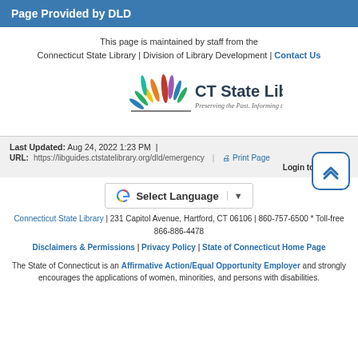Page Provided by DLD
This page is maintained by staff from the Connecticut State Library | Division of Library Development | Contact Us
[Figure (logo): CT State Library logo with colorful leaf/feather design and tagline: Preserving the Past. Informing the Future.]
Last Updated: Aug 24, 2022 1:23 PM
URL: https://libguides.ctstatelibrary.org/dld/emergency
Print Page | Login to LibApps
[Figure (other): Google Translate Select Language button]
Connecticut State Library | 231 Capitol Avenue, Hartford, CT 06106 | 860-757-6500 * Toll-free 866-886-4478
Disclaimers & Permissions | Privacy Policy | State of Connecticut Home Page
The State of Connecticut is an Affirmative Action/Equal Opportunity Employer and strongly encourages the applications of women, minorities, and persons with disabilities.